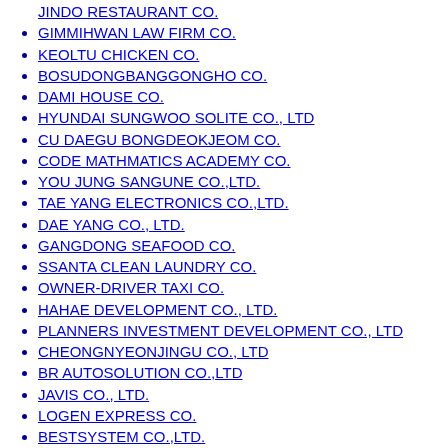JINDO RESTAURANT CO.
GIMMIHWAN LAW FIRM CO.
KEOLTU CHICKEN CO.
BOSUDONGBANGGONGHO CO.
DAMI HOUSE CO.
HYUNDAI SUNGWOO SOLITE CO., LTD
CU DAEGU BONGDEOKJEOM CO.
CODE MATHMATICS ACADEMY CO.
YOU JUNG SANGUNE CO.,LTD.
TAE YANG ELECTRONICS CO.,LTD.
DAE YANG CO., LTD.
GANGDONG SEAFOOD CO.
SSANTA CLEAN LAUNDRY CO.
OWNER-DRIVER TAXI CO.
HAHAE DEVELOPMENT CO., LTD.
PLANNERS INVESTMENT DEVELOPMENT CO., LTD
CHEONGNYEONJINGU CO., LTD
BR AUTOSOLUTION CO.,LTD
JAVIS CO., LTD.
LOGEN EXPRESS CO.
BESTSYSTEM CO.,LTD.
JAEWOO INTERNATIONAL CO., LTD
PLUS EDU SSEN CO., LTD
GS 25 INGYEWONRUM CO.
NAMSANRISANRIMGYE CO., LTD
FOMMASON HANSHIN SNACK CO.